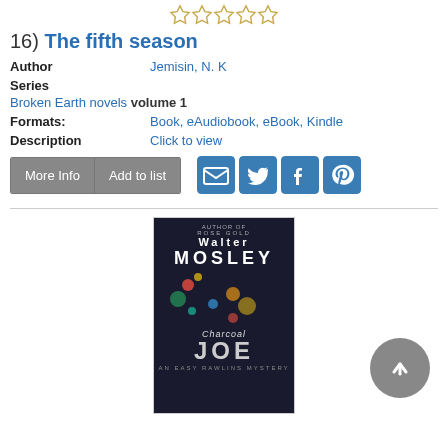[Figure (illustration): Star rating row with 5 empty gold-outlined stars]
16) The fifth season
Author: Jemisin, N. K
Series: Broken Earth novels volume 1
Formats: Book, eAudiobook, eBook, Kindle
Description: Click to view
[Figure (screenshot): More Info and Add to list buttons, plus social share icons for email, Twitter, Facebook, Pinterest]
[Figure (illustration): Book cover: Walter Mosley Charcoal Joe, An Easy Rawlins Mystery, dark background with silhouette figure and colorful bokeh circles]
[Figure (other): Circular grey scroll-to-top button with upward arrow]